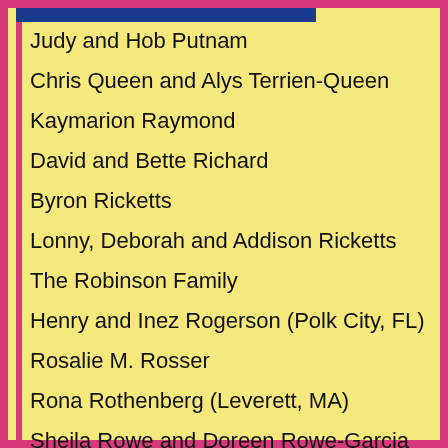Judy and Hob Putnam
Chris Queen and Alys Terrien-Queen
Kaymarion Raymond
David and Bette Richard
Byron Ricketts
Lonny, Deborah and Addison Ricketts
The Robinson Family
Henry and Inez Rogerson (Polk City, FL)
Rosalie M. Rosser
Rona Rothenberg (Leverett, MA)
Sheila Rowe and Doreen Rowe-Garcia
Jayne Rubenstein (Shutesbury, MA)